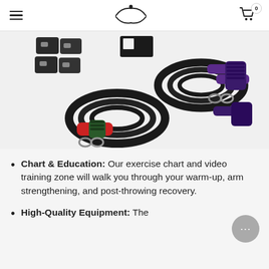Navigation header with hamburger menu, logo, and cart icon (0 items)
[Figure (photo): Product photo showing resistance band training kit with black bungee cords, red and purple handles, and mounting accessories on a light gray background]
Chart & Education: Our exercise chart and video training zone will walk you through your warm-up, arm strengthening, and post-throwing recovery.
High-Quality Equipment: The